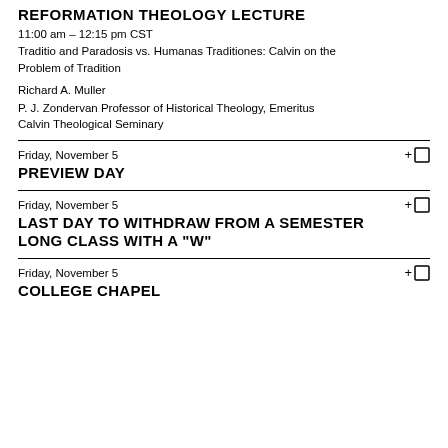REFORMATION THEOLOGY LECTURE
11:00 am – 12:15 pm CST
Traditio and Paradosis vs. Humanas Traditiones: Calvin on the Problem of Tradition
Richard A. Muller
P. J. Zondervan Professor of Historical Theology, Emeritus
Calvin Theological Seminary
Friday, November 5
PREVIEW DAY
Friday, November 5
LAST DAY TO WITHDRAW FROM A SEMESTER LONG CLASS WITH A "W"
Friday, November 5
COLLEGE CHAPEL